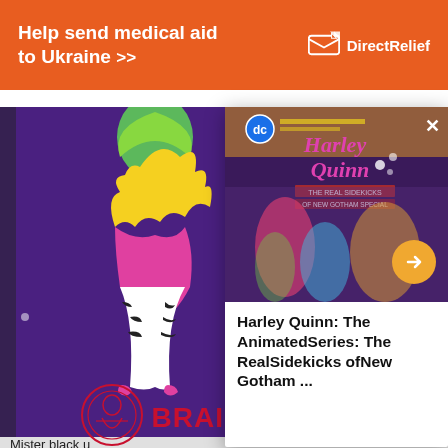[Figure (other): Orange advertisement banner for Direct Relief: 'Help send medical aid to Ukraine >>' with Direct Relief logo (envelope/shield icon) on the right]
[Figure (other): Comic book cover on the left showing stylized figure with green hair, yellow flame, pink costume, on purple background - 'Mister black u...' caption below]
[Figure (other): Popup overlay showing Harley Quinn animated series comic book cover with DC logo, pink stylized text, colorful characters, X close button, and orange arrow navigation button. Title reads: Harley Quinn: The AnimatedSeries: The RealSidekicks ofNew Gotham ...; below partial text 'the 50s, 60s, and 70s.']
Mister black u
the 50s, 60s, and 70s.
[Figure (other): Partial Brainiac logo in red ink - stylized text 'BRAINIAC' with a circular emblem/character illustration]